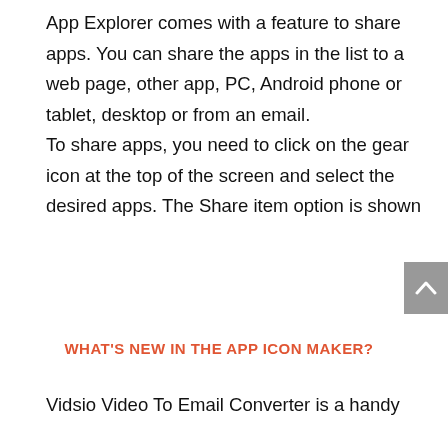App Explorer comes with a feature to share apps. You can share the apps in the list to a web page, other app, PC, Android phone or tablet, desktop or from an email. To share apps, you need to click on the gear icon at the top of the screen and select the desired apps. The Share item option is shown
WHAT'S NEW IN THE APP ICON MAKER?
Vidsio Video To Email Converter is a handy